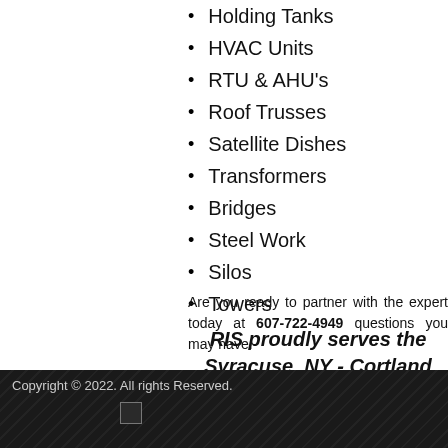Holding Tanks
HVAC Units
RTU & AHU's
Roof Trusses
Satellite Dishes
Transformers
Bridges
Steel Work
Silos
Towers
Are you ready to partner with the expert today at 607-722-4949 questions you may have.
RIS proudly serves the Syracuse, NY - Cortland
Copyright © 2022. All rights Reserved.